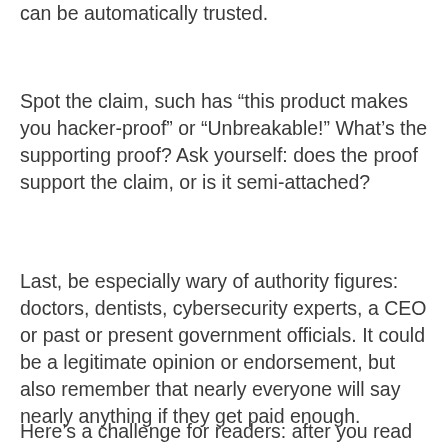can be automatically trusted.
Spot the claim, such has “this product makes you hacker-proof” or “Unbreakable!” What’s the supporting proof? Ask yourself: does the proof support the claim, or is it semi-attached?
Last, be especially wary of authority figures: doctors, dentists, cybersecurity experts, a CEO or past or present government officials. It could be a legitimate opinion or endorsement, but also remember that nearly everyone will say nearly anything if they get paid enough.
Here’s a challenge for readers: after you read